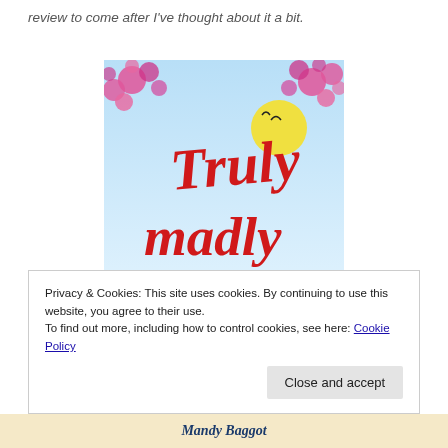review to come after I've thought about it a bit.
[Figure (illustration): Book cover for 'Truly Madly' by Mandy Baggot — light blue background with pink flowers, a yellow sun with birds, and red cursive lettering reading 'Truly Madly']
Privacy & Cookies: This site uses cookies. By continuing to use this website, you agree to their use.
To find out more, including how to control cookies, see here: Cookie Policy
Close and accept
Mandy Baggot